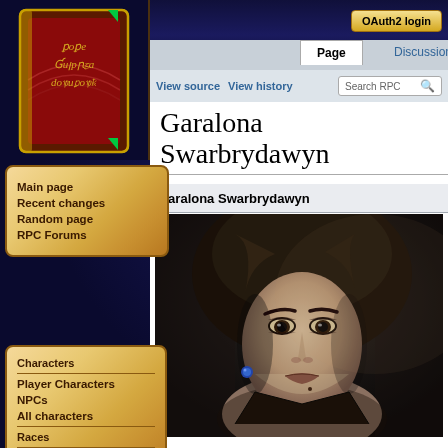[Figure (screenshot): Wiki website screenshot showing a role-playing character page for 'Garalona Swarbrydawyn' with a dark fantasy starfield background, a book/scroll logo on the left, navigation sidebar with parchment styling, and a character portrait image.]
OAuth2 login
Page | Discussion | View source | View history | Search RPC
Garalona Swarbrydawyn
Garalona Swarbrydawyn
Main page
Recent changes
Random page
RPC Forums
Characters
Player Characters
NPCs
All characters
Races
Hyur
[Figure (photo): Dark anime/game-style portrait of a female character with dark hair, pale skin, dark eye makeup, and dramatic lighting. She appears to be a dark-themed fantasy character.]